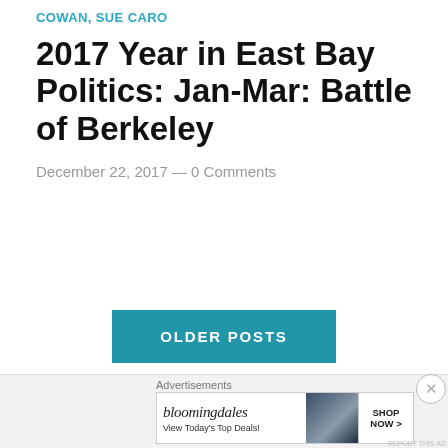COWAN, SUE CARO
2017 Year in East Bay Politics: Jan-Mar: Battle of Berkeley
December 22, 2017 — 0 Comments
OLDER POSTS
[Figure (other): Bloomingdale's advertisement banner: 'bloomingdales / View Today's Top Deals!' with an image of a woman in a large hat and a 'SHOP NOW >' button]